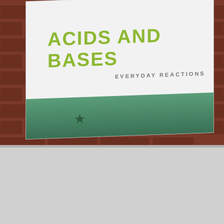[Figure (photo): A book cover titled 'ACIDS AND BASES — EVERYDAY REACTIONS' angled against a brick wall background. The cover has a white upper area with olive-green bold title text, a subtitle in gray uppercase letters, and a teal/green band at the bottom with a dark star shape.]
Acids & Alkalis (Bases)
Chemistry